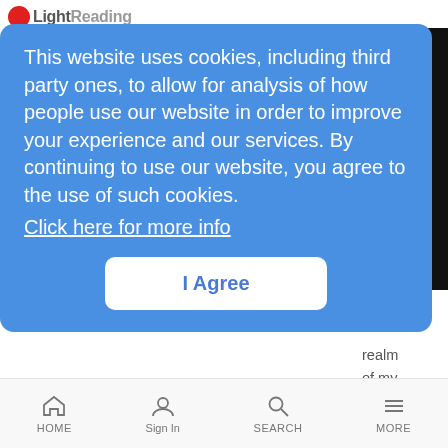Light Reading
This website uses cookies, including third party ones, to allow for analysis of how people use our website in order to improve your experience and our services. By continuing to use our website, you agree to the use of such cookies. Click here for more info
I Agree
realm of my t fully
past or future, sorry. That's not what this column is about. And right now, it seems like way too much work since, after all, I am now retired.
— Carol Wilson, (formerly) Editor-at-Large, Light Reading
Like what we have to say? Click here to sign up to our daily newsletter
HOME  Sign In  SEARCH  MORE